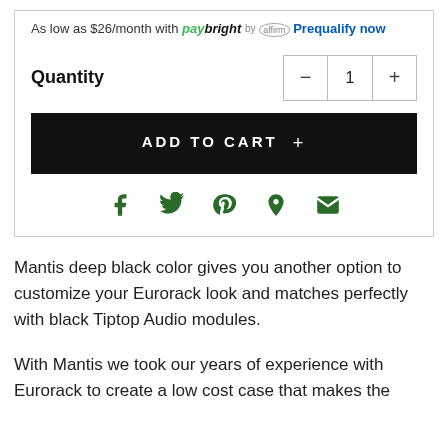As low as $26/month with paybright by affirm Prequalify now
Quantity  −  1  +
ADD TO CART +
[Figure (infographic): Social share icons: Facebook, Twitter, Pinterest, Fancy/pin, Email]
Mantis deep black color gives you another option to customize your Eurorack look and matches perfectly with black Tiptop Audio modules.
With Mantis we took our years of experience with Eurorack to create a low cost case that makes the